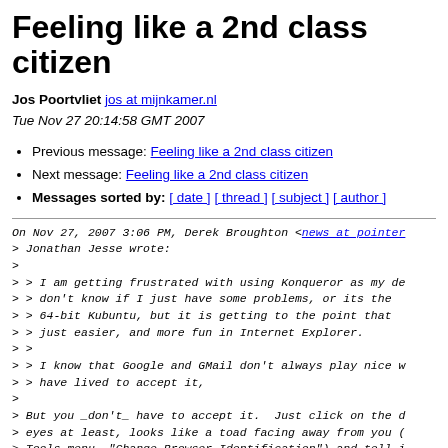Feeling like a 2nd class citizen
Jos Poortvliet jos at mijnkamer.nl
Tue Nov 27 20:14:58 GMT 2007
Previous message: Feeling like a 2nd class citizen
Next message: Feeling like a 2nd class citizen
Messages sorted by: [ date ] [ thread ] [ subject ] [ author ]
On Nov 27, 2007 3:06 PM, Derek Broughton <news at pointer
> Jonathan Jesse wrote:
>
> > I am getting frustrated with using Konqueror as my de
> > don't know if I just have some problems, or its the 
> > 64-bit Kubuntu, but it is getting to the point that 
> > just easier, and more fun in Internet Explorer.
> >
> > I know that Google and GMail don't always play nice w
> > have lived to accept it,
>
> But you _don't_ have to accept it.  Just click on the d
> eyes at least, looks like a toad facing away from you (
> Tools menu, "Change Browser Identification") and tell i
> latest version of either Firefox or IE.  For google and
> works.
>